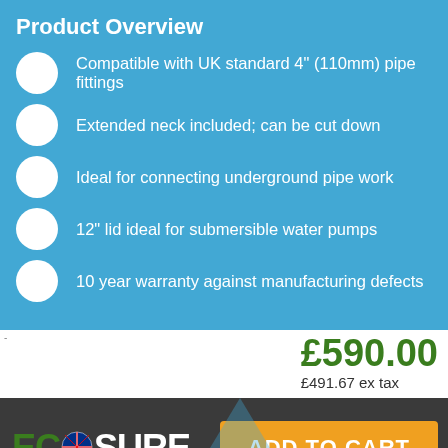Product Overview
Compatible with UK standard 4" (110mm) pipe fittings
Extended neck included; can be cut down
Ideal for connecting underground pipe work
12" lid ideal for submersible water pumps
10 year warranty against manufacturing defects
£590.00
£491.67 ex tax
[Figure (logo): Ecosure logo with UK flag globe icon, white text on dark background, with blue arrow graphic]
ADD TO CART